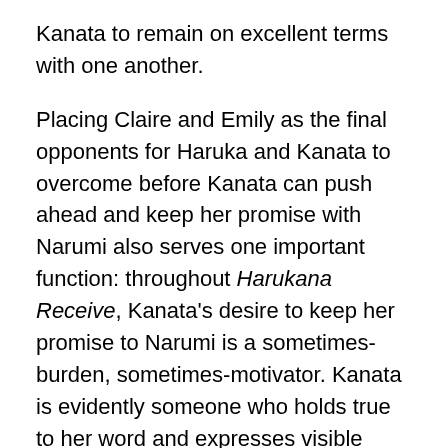Kanata to remain on excellent terms with one another.
Placing Claire and Emily as the final opponents for Haruka and Kanata to overcome before Kanata can push ahead and keep her promise with Narumi also serves one important function: throughout Harukana Receive, Kanata’s desire to keep her promise to Narumi is a sometimes-burden, sometimes-motivator. Kanata is evidently someone who holds true to her word and expresses visible regret when she feels as though she might not be able to uphold her end of the promise. When the opportunity for keeping it presents itself, Kanata seizes it; she and Haruka make remarkable progress as a pair over the course of a year, reaching a point where they are able to play on par with the second-ranked players in all of Japan. The power of a promise as a motivator is clearly felt, and ends up being a